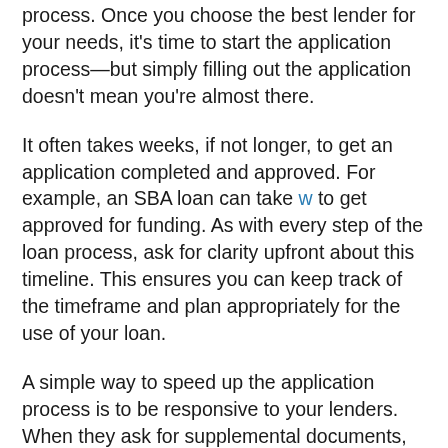process. Once you choose the best lender for your needs, it's time to start the application process—but simply filling out the application doesn't mean you're almost there.
It often takes weeks, if not longer, to get an application completed and approved. For example, an SBA loan can take w to get approved for funding. As with every step of the loan process, ask for clarity upfront about this timeline. This ensures you can keep track of the timeframe and plan appropriately for the use of your loan.
A simple way to speed up the application process is to be responsive to your lenders. When they ask for supplemental documents, provide them as quickly as